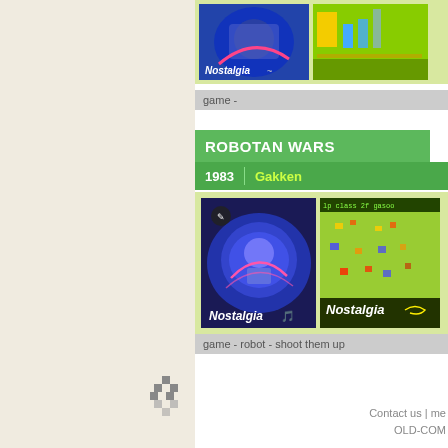[Figure (screenshot): Partial game listing section at top, showing two game thumbnail images with Nostalgia labels, on a yellow-green background, cropped at top]
game -
ROBOTAN WARS
1983  |  Gakken
[Figure (screenshot): Two game thumbnail screenshots for Robotan Wars: left shows colorful circular game cover art with Nostalgia label, right shows gameplay screenshot with green background and Nostalgia label]
game - robot - shoot them up
[Figure (logo): Small pixel art logo in lower left area]
Contact us | me...
OLD-COM...